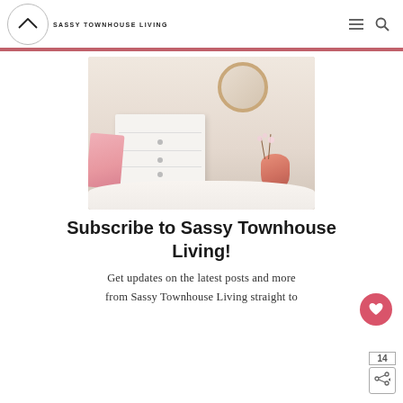SASSY TOWNHOUSE LIVING
[Figure (photo): Bedroom scene with white dresser, pink vase with cherry blossoms on a wooden tray, pink throw blanket, and round mirror on wall]
Subscribe to Sassy Townhouse Living!
Get updates on the latest posts and more from Sassy Townhouse Living straight to